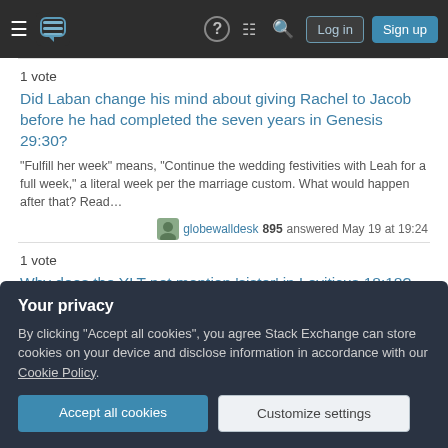Stack Exchange navigation bar with Log in and Sign up buttons
1 vote
Did Laban change his mind about giving Rachel to Jacob before he had completed the seven years in Genesis 29:30?
"Fulfill her week" means, "Continue the wedding festivities with Leah for a full week," a literal week per the marriage custom. What would happen after that? Read…
globewalldesk 895 answered May 19 at 19:24
1 vote
Why does the YLT not mention 'sister' in Leviticus 18:18?
I think @חִדָּה gave a good answer to part of the question. אָחוֹת definitely means "sister" in Lev 18:18 as per BDB. Indeed, the same word is used in Lev 18:9, 11, 12,…
Your privacy
By clicking "Accept all cookies", you agree Stack Exchange can store cookies on your device and disclose information in accordance with our Cookie Policy.
Accept all cookies
Customize settings
חִדָּה 7,761 answered Apr 19 at 13:36